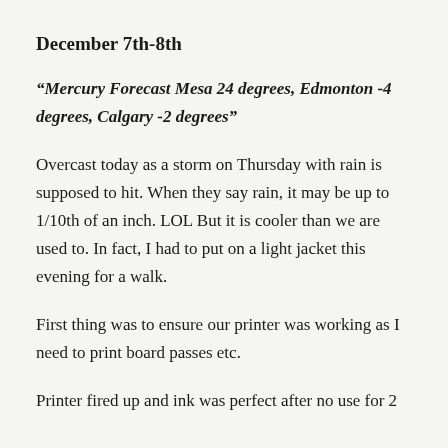December 7th-8th
“Mercury Forecast Mesa 24 degrees, Edmonton -4 degrees, Calgary -2 degrees”
Overcast today as a storm on Thursday with rain is supposed to hit. When they say rain, it may be up to 1/10th of an inch. LOL But it is cooler than we are used to. In fact, I had to put on a light jacket this evening for a walk.
First thing was to ensure our printer was working as I need to print board passes etc.
Printer fired up and ink was perfect after no use for 2